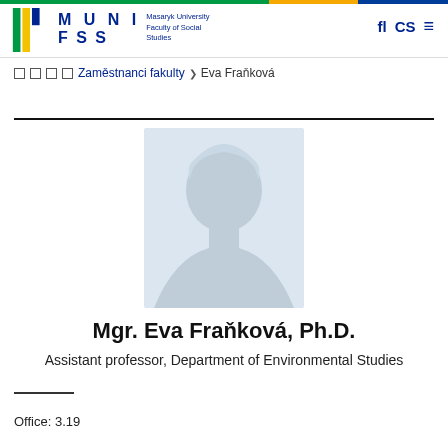MUNI FSS – Masaryk University Faculty of Social Studies
❯ ❯ ❯ ❯ Zaměstnanci fakulty ❯ Eva Fraňková
[Figure (photo): Placeholder silhouette profile photo of a person on a light blue-grey background]
Mgr. Eva Fraňková, Ph.D.
Assistant professor, Department of Environmental Studies
Office: 3.19